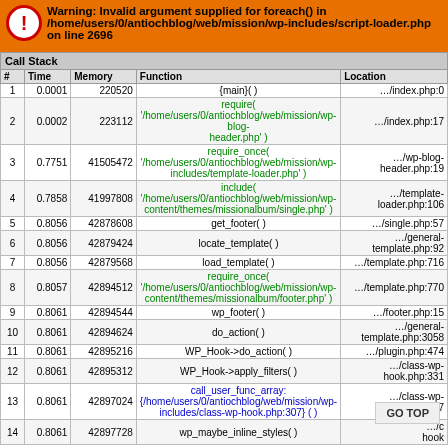Warning: Invalid argument supplied for foreach() in /home/users/0/antiochblog/web/mission/wp-includes/script-loader.php on line 2696
| # | Time | Memory | Function | Location |
| --- | --- | --- | --- | --- |
| 1 | 0.0001 | 220520 | {main}( ) | …/index.php:0 |
| 2 | 0.0002 | 223112 | require( '/home/users/0/antiochblog/web/mission/wp-blog-header.php' ) | …/index.php:17 |
| 3 | 0.7751 | 41505472 | require_once( '/home/users/0/antiochblog/web/mission/wp-includes/template-loader.php' ) | …/wp-blog-header.php:19 |
| 4 | 0.7858 | 41997808 | include( '/home/users/0/antiochblog/web/mission/wp-content/themes/missionalbum/single.php' ) | …/template-loader.php:106 |
| 5 | 0.8056 | 42878608 | get_footer( ) | …/single.php:57 |
| 6 | 0.8056 | 42879424 | locate_template( ) | …/general-template.php:92 |
| 7 | 0.8056 | 42879568 | load_template( ) | …/template.php:716 |
| 8 | 0.8057 | 42894512 | require_once( '/home/users/0/antiochblog/web/mission/wp-content/themes/missionalbum/footer.php' ) | …/template.php:770 |
| 9 | 0.8061 | 42894544 | wp_footer( ) | …/footer.php:15 |
| 10 | 0.8061 | 42894624 | do_action( ) | …/general-template.php:3058 |
| 11 | 0.8061 | 42895216 | WP_Hook->do_action( ) | …/plugin.php:474 |
| 12 | 0.8061 | 42895312 | WP_Hook->apply_filters( ) | …/class-wp-hook.php:331 |
| 13 | 0.8061 | 42897024 | call_user_func_array: {/home/users/0/antiochblog/web/mission/wp-includes/class-wp-hook.php:307} ( ) | …/class-wp-hook.php:307 |
| 14 | 0.8061 | 42897728 | wp_maybe_inline_styles( ) | …/c hook |
Copyright © A Stone Corporation